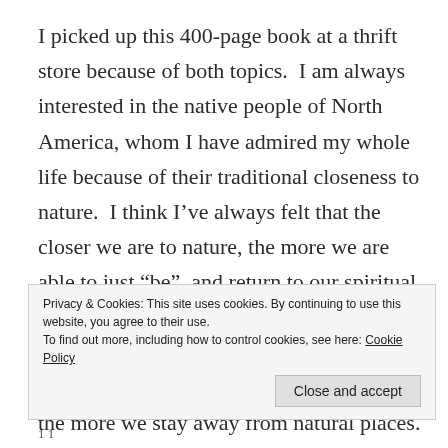I picked up this 400-page book at a thrift store because of both topics.  I am always interested in the native people of North America, whom I have admired my whole life because of their traditional closeness to nature.  I think I've always felt that the closer we are to nature, the more we are able to just “be”, and return to our spiritual connection.  Not that it’s at all wrong to live in cities, but we forget some of the essentials of living, and lose peace of mind, the more we stay away from natural places.  I am also increasingly suspicious
Privacy & Cookies: This site uses cookies. By continuing to use this website, you agree to their use.
To find out more, including how to control cookies, see here: Cookie Policy
1 1